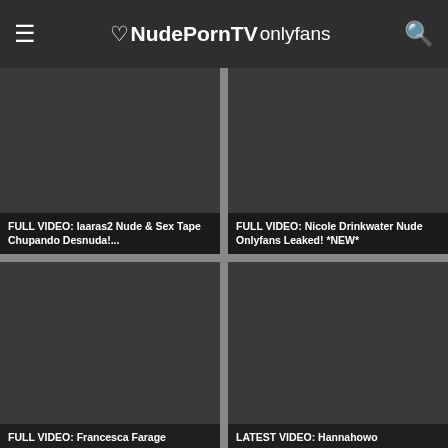☰ ♡NudePornTV onlyfans 🔍
[Figure (screenshot): Dark video thumbnail - top left]
FULL VIDEO: Iaaras2 Nude & Sex Tape Chupando Desnuda!...
[Figure (screenshot): Dark video thumbnail - top right]
FULL VIDEO: Nicole Drinkwater Nude Onlyfans Leaked! *NEW*
[Figure (screenshot): Dark video thumbnail - bottom left]
FULL VIDEO: Francesca Farage
[Figure (screenshot): Dark video thumbnail - bottom right]
LATEST VIDEO: Hannahowo